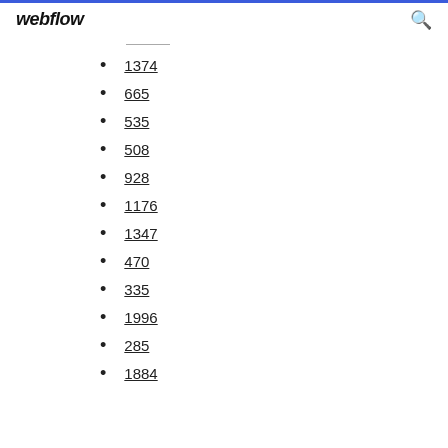webflow
1374
665
535
508
928
1176
1347
470
335
1996
285
1884